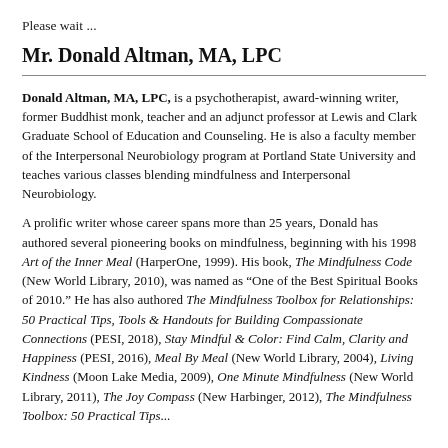Please wait ...
Mr. Donald Altman, MA, LPC
Donald Altman, MA, LPC, is a psychotherapist, award-winning writer, former Buddhist monk, teacher and an adjunct professor at Lewis and Clark Graduate School of Education and Counseling. He is also a faculty member of the Interpersonal Neurobiology program at Portland State University and teaches various classes blending mindfulness and Interpersonal Neurobiology.
A prolific writer whose career spans more than 25 years, Donald has authored several pioneering books on mindfulness, beginning with his 1998 Art of the Inner Meal (HarperOne, 1999). His book, The Mindfulness Code (New World Library, 2010), was named as “One of the Best Spiritual Books of 2010.” He has also authored The Mindfulness Toolbox for Relationships: 50 Practical Tips, Tools & Handouts for Building Compassionate Connections (PESI, 2018), Stay Mindful & Color: Find Calm, Clarity and Happiness (PESI, 2016), Meal By Meal (New World Library, 2004), Living Kindness (Moon Lake Media, 2009), One Minute Mindfulness (New World Library, 2011), The Joy Compass (New Harbinger, 2012), The Mindfulness Toolbox: 50 Practical Tips...